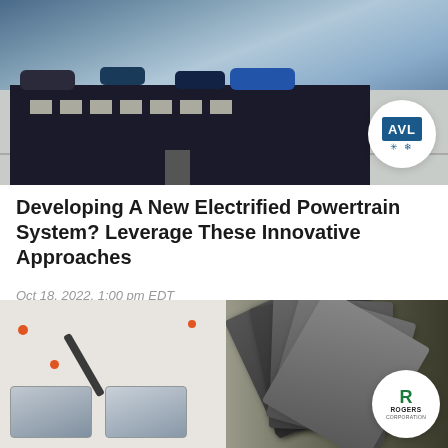[Figure (photo): Aerial/perspective rendering of an automotive test facility with electric vehicles and glowing blue lighting effects. AVL logo in white circle overlay at bottom right of image.]
Developing A New Electrified Powertrain System? Leverage These Innovative Approaches
Oct 18, 2022, 1:00 pm EDT
REGISTER
[Figure (photo): Close-up photo of battery pouch cells being handled with a tool, with orange markers visible. On the right, fan-arranged carbon fiber or composite sheets with Rogers Corporation logo in white circle overlay.]